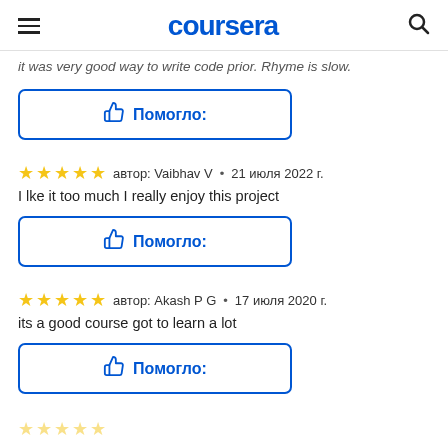coursera
it was very good way to write code prior. Rhyme is slow.
[Figure (other): Thumbs up helpful button with text 'Помогло:']
автор: Vaibhav V • 21 июля 2022 г.
I lke it too much I really enjoy this project
[Figure (other): Thumbs up helpful button with text 'Помогло:']
автор: Akash P G • 17 июля 2020 г.
its a good course got to learn a lot
[Figure (other): Thumbs up helpful button with text 'Помогло:']